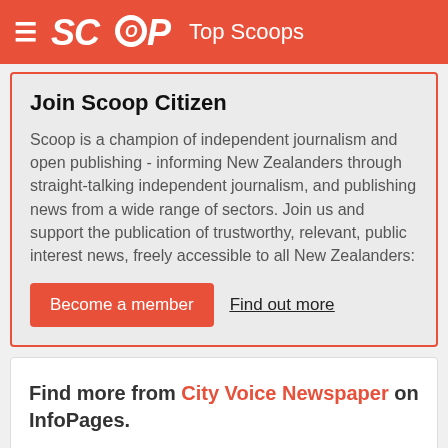SCOOP Top Scoops
Join Scoop Citizen
Scoop is a champion of independent journalism and open publishing - informing New Zealanders through straight-talking independent journalism, and publishing news from a wide range of sectors. Join us and support the publication of trustworthy, relevant, public interest news, freely accessible to all New Zealanders:
Become a member   Find out more
Find more from City Voice Newspaper on InfoPages.